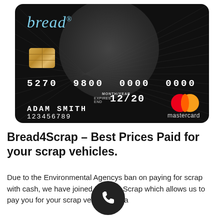[Figure (illustration): Black Bread Mastercard credit card with globe design, chip, card number 5270 9800 0000 0000, expiry 12/20, name ADAM SMITH, account 123456789, and Mastercard logo]
Bread4Scrap – Best Prices Paid for your scrap vehicles.
Due to the Environmental Agencys ban on paying for scrap with cash, we have joined Bread 4 Scrap which allows us to pay you for your scrap vehicle with a